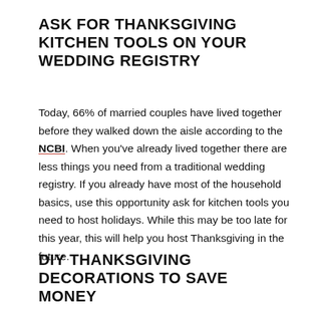ASK FOR THANKSGIVING KITCHEN TOOLS ON YOUR WEDDING REGISTRY
Today, 66% of married couples have lived together before they walked down the aisle according to the NCBI. When you've already lived together there are less things you need from a traditional wedding registry. If you already have most of the household basics, use this opportunity ask for kitchen tools you need to host holidays. While this may be too late for this year, this will help you host Thanksgiving in the future.
DIY THANKSGIVING DECORATIONS TO SAVE MONEY